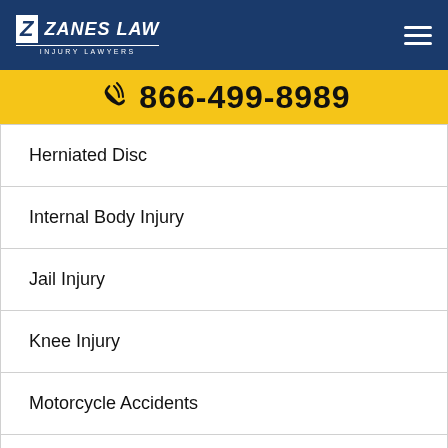[Figure (logo): Zanes Law Injury Lawyers logo with navigation hamburger menu on dark blue header background]
866-499-8989
Herniated Disc
Internal Body Injury
Jail Injury
Knee Injury
Motorcycle Accidents
Nerve Damage
Nursing Home Abuse